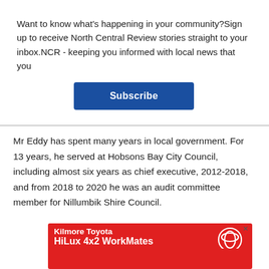Want to know what's happening in your community?Sign up to receive North Central Review stories straight to your inbox.NCR - keeping you informed with local news that you
Subscribe
Mr Eddy has spent many years in local government. For 13 years, he served at Hobsons Bay City Council, including almost six years as chief executive, 2012-2018, and from 2018 to 2020 he was an audit committee member for Nillumbik Shire Council.
[Figure (other): Kilmore Toyota HiLux 4x2 WorkMates advertisement with red background, Toyota logo, and trucks shown at bottom]